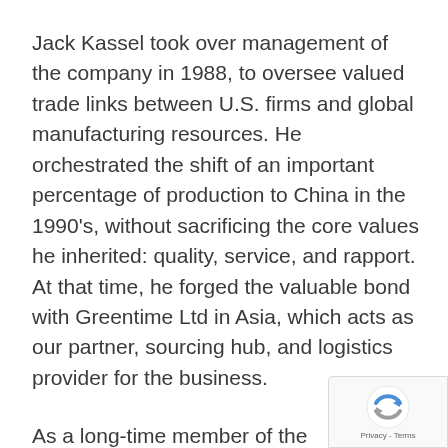Jack Kassel took over management of the company in 1988, to oversee valued trade links between U.S. firms and global manufacturing resources. He orchestrated the shift of an important percentage of production to China in the 1990's, without sacrificing the core values he inherited: quality, service, and rapport. At that time, he forged the valuable bond with Greentime Ltd in Asia, which acts as our partner, sourcing hub, and logistics provider for the business.
As a long-time member of the Entrepreneur's Organization (EO), Jack understands the special concerns of small- to mid-sized companies and entrepreneurs...